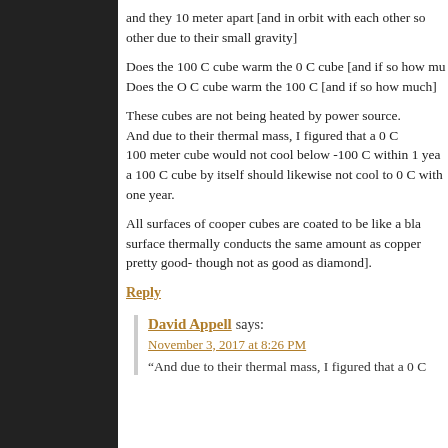and they 10 meter apart [and in orbit with each other so other due to their small gravity]
Does the 100 C cube warm the 0 C cube [and if so how mu Does the O C cube warm the 100 C [and if so how much]
These cubes are not being heated by power source. And due to their thermal mass, I figured that a 0 C 100 meter cube would not cool below -100 C within 1 yea a 100 C cube by itself should likewise not cool to 0 C with one year.
All surfaces of cooper cubes are coated to be like a bla surface thermally conducts the same amount as copper pretty good- though not as good as diamond].
Reply
David Appell says:
November 3, 2017 at 8:26 PM
“And due to their thermal mass, I figured that a 0 C